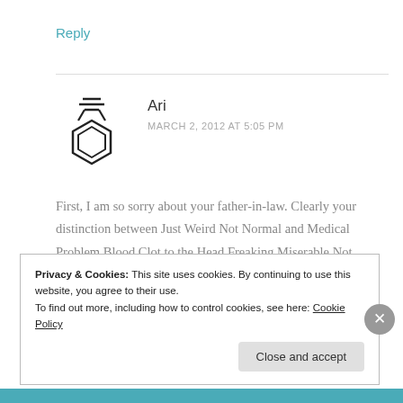Reply
[Figure (illustration): Benzene ring / perfume bottle avatar icon - hexagonal shape with decorative lines on top, black outline style]
Ari
MARCH 2, 2012 AT 5:05 PM
First, I am so sorry about your father-in-law. Clearly your distinction between Just Weird Not Normal and Medical Problem Blood Clot to the Head Freaking Miserable Not Normal is a necessary one.
Privacy & Cookies: This site uses cookies. By continuing to use this website, you agree to their use. To find out more, including how to control cookies, see here: Cookie Policy
Close and accept